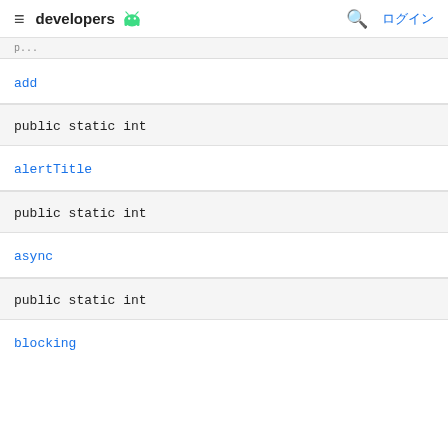developers
add
public static int
alertTitle
public static int
async
public static int
blocking